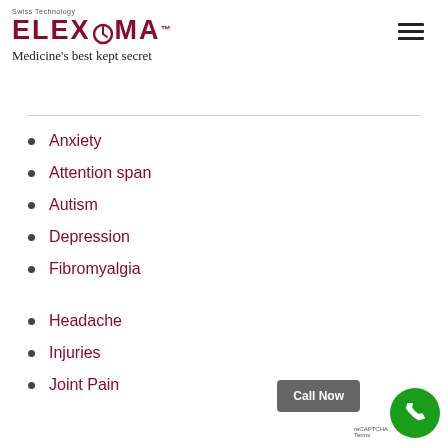Swiss Technology
ELEXOMA™
Medicine's best kept secret
Anxiety
Attention span
Autism
Depression
Fibromyalgia
Headache
Injuries
Joint Pain